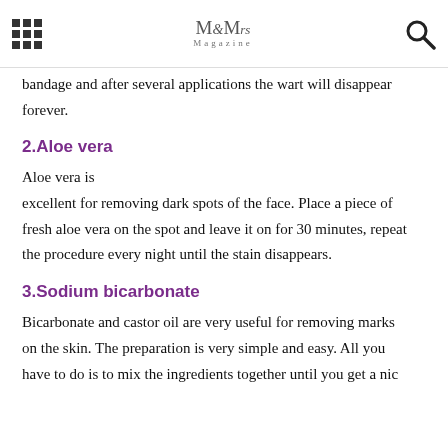Ms & Mrs Magazine
bandage and after several applications the wart will disappear forever.
2.Aloe vera
Aloe vera is excellent for removing dark spots of the face. Place a piece of fresh aloe vera on the spot and leave it on for 30 minutes, repeat the procedure every night until the stain disappears.
3.Sodium bicarbonate
Bicarbonate and castor oil are very useful for removing marks on the skin. The preparation is very simple and easy. All you have to do is to mix the ingredients together until you get a nice